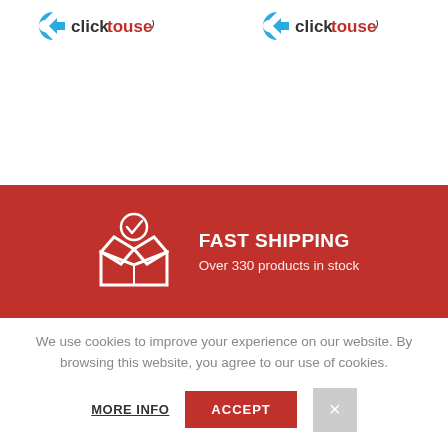clicktouse logo (x2)
[Figure (infographic): Red banner with open box icon and text: FAST SHIPPING / Over 330 products in stock]
We use cookies to improve your experience on our website. By browsing this website, you agree to our use of cookies.
MORE INFO | ACCEPT | X